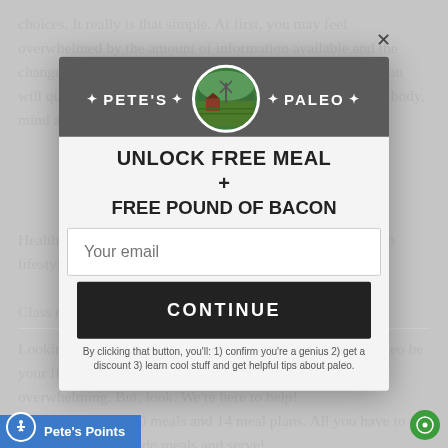choices. It really is that simple. At first, you may feel overwhelmed by the amount of information available and the changes that need to be made. As you begin your journey, you will quickly become aware of how well and positively your body, mind and spirit will adapt to these changes.
[Figure (logo): Pete's Paleo banner logo with farm scene circle in center]
UNLOCK FREE MEAL + FREE POUND OF BACON
Your email
CONTINUE
By clicking that button, you'll: 1) confirm you're a genius 2) get a discount 3) learn cool stuff and get helpful tips about paleo.
Health is a journey, and focusing on the benefits of the Paleo lifestyle will allow you to enjoy the ride.
Class dismissed!
Looking to get started on your Paleo journey? Let Pete's Paleo be your first step in the process. We get it — this can be a bit overwhelming. But, look. We're here to help! We have 5 meals, 10 meals and 14 meal plans. All you have to do is reheat our pre-made meals and serve!
Pete's Points